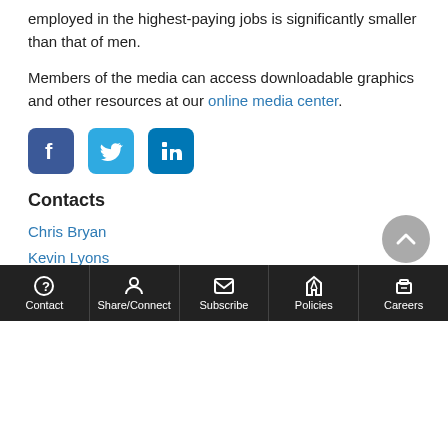employed in the highest-paying jobs is significantly smaller than that of men.
Members of the media can access downloadable graphics and other resources at our online media center.
[Figure (other): Social media icons: Facebook, Twitter, LinkedIn]
Contacts
Chris Bryan
Kevin Lyons
512-463-4070
800-531-5441 ext. 3-4070
Contact | Share/Connect | Subscribe | Policies | Careers